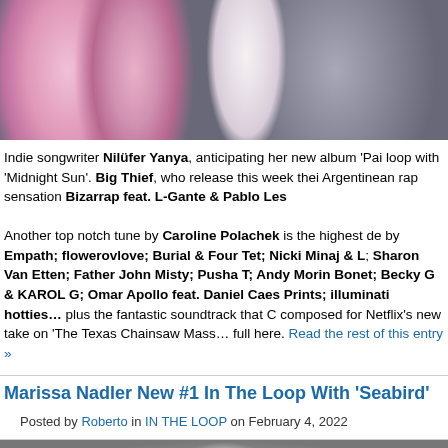[Figure (photo): Cropped photo showing a person wearing a pink feathery/fluffy costume top with a white belt/band and dark skirt/pants, photographed from torso down]
Indie songwriter Nilüfer Yanya, anticipating her new album 'Pai... loop with 'Midnight Sun'. Big Thief, who release this week their... Argentinean rap sensation Bizarrap feat. L-Gante & Pablo Les...

Another top notch tune by Caroline Polachek is the highest de... by Empath; flowerovlove; Burial & Four Tet; Nicki Minaj & L... Sharon Van Etten; Father John Misty; Pusha T; Andy Morin... Bonet; Becky G & KAROL G; Omar Apollo feat. Daniel Caes... Prints; illuminati hotties… plus the fantastic soundtrack that C... composed for Netflix's new take on 'The Texas Chainsaw Mass... full here. Read the rest of this entry »
Marissa Nadler New #1 In The Loop With 'Seabird'
Posted by Roberto in IN THE LOOP on February 4, 2022
[Figure (photo): Bottom portion of a black and white photograph, partially visible]